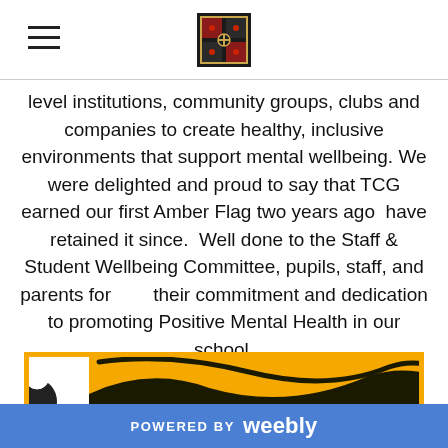[hamburger menu icon] [school logo]
level institutions, community groups, clubs and companies to create healthy, inclusive environments that support mental wellbeing. We were delighted and proud to say that TCG earned our first Amber Flag two years ago  have retained it since.  Well done to the Staff & Student Wellbeing Committee, pupils, staff, and parents for        their commitment and dedication to promoting Positive Mental Health in our school.
[Figure (illustration): Orange and white image showing what appears to be an Amber Flag illustration with orange background and a curved black wave/flag shape.]
POWERED BY weebly